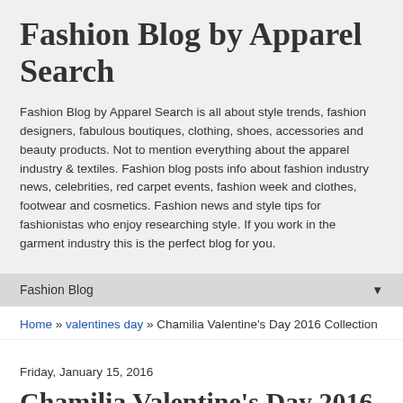Fashion Blog by Apparel Search
Fashion Blog by Apparel Search is all about style trends, fashion designers, fabulous boutiques, clothing, shoes, accessories and beauty products. Not to mention everything about the apparel industry & textiles. Fashion blog posts info about fashion industry news, celebrities, red carpet events, fashion week and clothes, footwear and cosmetics. Fashion news and style tips for fashionistas who enjoy researching style. If you work in the garment industry this is the perfect blog for you.
Fashion Blog
Home » valentines day » Chamilia Valentine's Day 2016 Collection
Friday, January 15, 2016
Chamilia Valentine's Day 2016 Collection